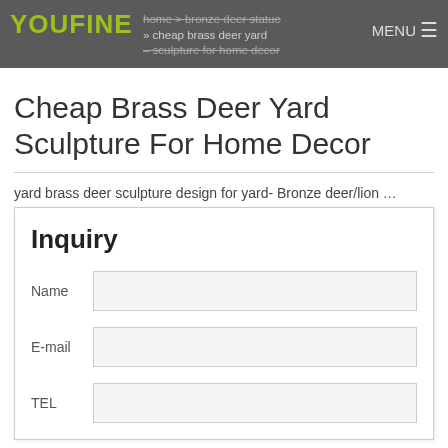YOUFINE | home > bronze deer statue » cheap brass deer yard – sculpture for home decor | MENU
Cheap Brass Deer Yard Sculpture For Home Decor
yard brass deer sculpture design for yard- Bronze deer/lion …
Inquiry
Name
E-mail
TEL